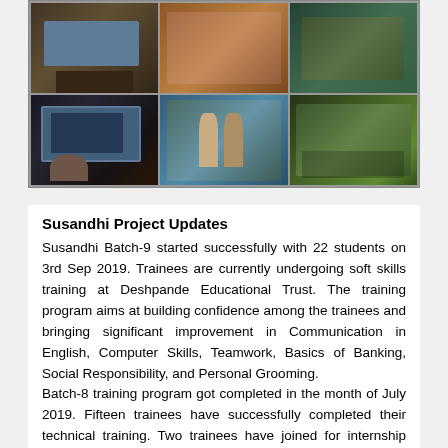[Figure (photo): A collage of six photographs arranged in a 3×2 grid showing scenes related to the Susandhi project: a computer workstation with a monitor showing a person's face, a group of women in traditional Indian dress at an event, a classroom/gathering scene, and students working or studying.]
Susandhi Project Updates
Susandhi Batch-9 started successfully with 22 students on 3rd Sep 2019. Trainees are currently undergoing soft skills training at Deshpande Educational Trust. The training program aims at building confidence among the trainees and bringing significant improvement in Communication in English, Computer Skills, Teamwork, Basics of Banking, Social Responsibility, and Personal Grooming.
Batch-8 training program got completed in the month of July 2019. Fifteen trainees have successfully completed their technical training. Two trainees have joined for internship with Blynkspeak, working in Software and IoT products. Three